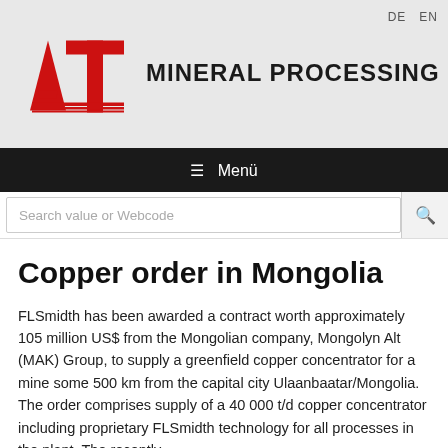DE  EN
[Figure (logo): AT Mineral Processing logo: red stylized AT letters with horizontal lines, followed by bold black text MINERAL PROCESSING]
☰ Menü
Search value or Webcode
Copper order in Mongolia
FLSmidth has been awarded a contract worth approximately 105 million US$ from the Mongolian company, Mongolyn Alt (MAK) Group, to supply a greenfield copper concentrator for a mine some 500 km from the capital city Ulaanbaatar/Mongolia. The order comprises supply of a 40 000 t/d copper concentrator including proprietary FLSmidth technology for all processes in the plant. The recently